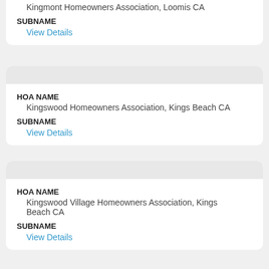Kingmont Homeowners Association, Loomis CA
SUBNAME
View Details
HOA NAME
Kingswood Homeowners Association, Kings Beach CA
SUBNAME
View Details
HOA NAME
Kingswood Village Homeowners Association, Kings Beach CA
SUBNAME
View Details